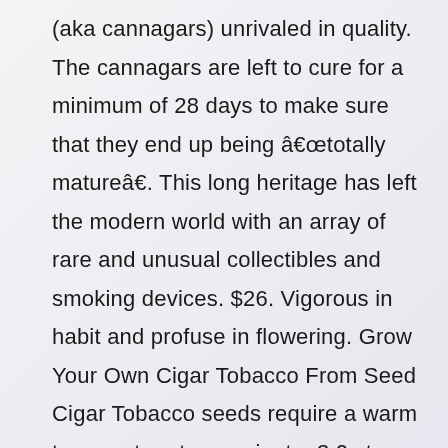(aka cannagars) unrivaled in quality. The cannagars are left to cure for a minimum of 28 days to make sure that they end up being âtotally matureâ. This long heritage has left the modern world with an array of rare and unusual collectibles and smoking devices. $26. Vigorous in habit and profuse in flowering. Grow Your Own Cigar Tobacco From Seed Cigar Tobacco seeds require a warm temperature to germinate. 3.0 stars. How to Care for a Cigar Plant. CBG for Sale. Rare Cigars specialises and sells Cuban Cigars online; arguably the best cigars in the world. I live next door to my mom, near the coast of Central California, and have had great luck with Cigar Plants, once we found the best